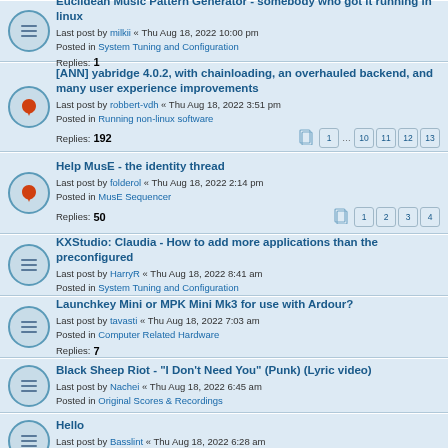Euclidean Music Pattern Generator - somebody who got it running in linux
Last post by milkii « Thu Aug 18, 2022 10:00 pm
Posted in System Tuning and Configuration
Replies: 1
[ANN] yabridge 4.0.2, with chainloading, an overhauled backend, and many user experience improvements
Last post by robbert-vdh « Thu Aug 18, 2022 3:51 pm
Posted in Running non-linux software
Replies: 192 Pages: 1 ... 10 11 12 13
Help MusE - the identity thread
Last post by folderol « Thu Aug 18, 2022 2:14 pm
Posted in MusE Sequencer
Replies: 50 Pages: 1 2 3 4
KXStudio: Claudia - How to add more applications than the preconfigured
Last post by HarryR « Thu Aug 18, 2022 8:41 am
Posted in System Tuning and Configuration
Launchkey Mini or MPK Mini Mk3 for use with Ardour?
Last post by tavasti « Thu Aug 18, 2022 7:03 am
Posted in Computer Related Hardware
Replies: 7
Black Sheep Riot - "I Don't Need You" (Punk) (Lyric video)
Last post by Nachei « Thu Aug 18, 2022 6:45 am
Posted in Original Scores & Recordings
Hello
Last post by Basslint « Thu Aug 18, 2022 6:28 am
Posted in New? We're glad you're here!